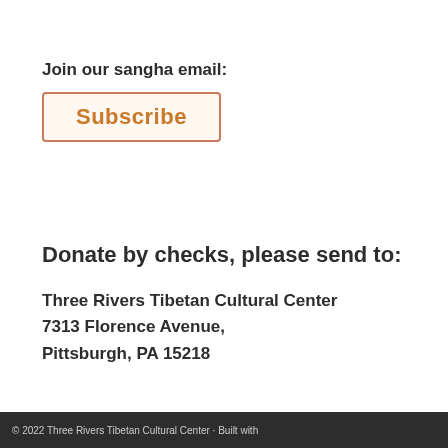Join our sangha email:
Subscribe
Donate by checks, please send to:
Three Rivers Tibetan Cultural Center
7313 Florence Avenue,
Pittsburgh, PA 15218
© 2022 Three Rivers Tibetan Cultural Center · Built with